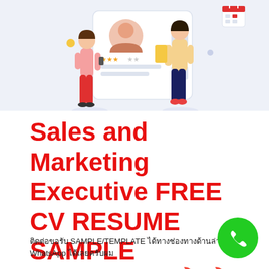[Figure (illustration): Illustration of people with a resume/CV document, showing two figures on either side of a large CV card with a profile photo, star rating, and text lines. Light blue/gray background.]
Sales and Marketing Executive FREE CV RESUME SAMPLE TEMPLATE 🔥🔥🔥🔥
ติดต่อขอรับ SAMPLE/TEMPLATE ได้ทางช่องทางด้านล่างหรือทาง WhatsApp ได้เลยครับผม